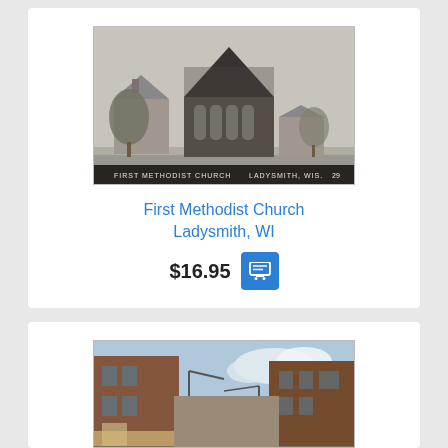[Figure (photo): Black and white photograph of First Methodist Church, Ladysmith, WI. Shows a church building with a tall peaked roof and vine-covered stone facade, with trees around it. Caption at bottom reads 'FIRST METHODIST CHURCH LADYSMITH, WIS. 29']
First Methodist Church
Ladysmith, WI
$16.95
[Figure (photo): Color photograph of a main street in Ladysmith, WI showing brick commercial buildings on both sides, street lights, and a cloudy sky.]